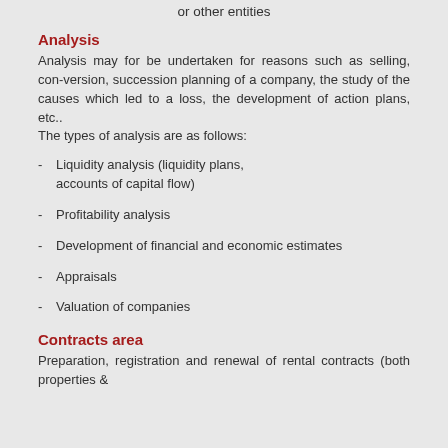or other entities
Analysis
Analysis may for be undertaken for reasons such as selling, con-version, succession planning of a company, the study of the causes which led to a loss, the development of action plans, etc.. The types of analysis are as follows:
- Liquidity analysis (liquidity plans, accounts of capital flow)
- Profitability analysis
- Development of financial and economic estimates
- Appraisals
- Valuation of companies
Contracts area
Preparation, registration and renewal of rental contracts (both properties &